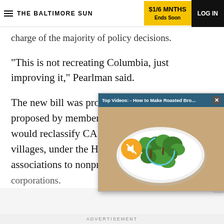THE BALTIMORE SUN | $1/6 MNTHS Ends Soon | LOG IN
charge of the majority of policy decisions.
"This is not recreating Columbia, just improving it," Pearlman said.
The new bill was pro… proposed by member… would reclassify CA,… villages, under the H… associations to nonprofit community services corporations…
[Figure (screenshot): Top Videos popup overlay showing 'How to Make Roasted Bro...' with a thumbnail of roasted broccoli on a white plate, mute icon, and close button]
ADVERTISEMENT